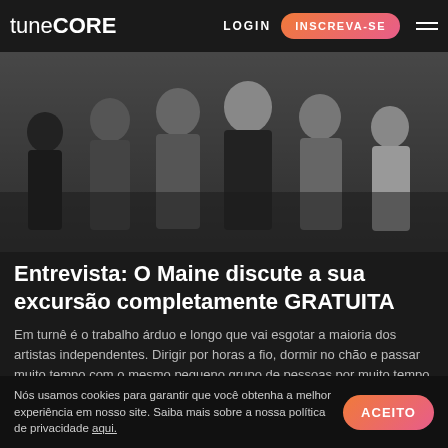tuneCORE LOGIN INSCREVA-SE
[Figure (photo): Black and white photo of a band with multiple members standing together]
Entrevista: O Maine discute a sua excursão completamente GRATUITA
Em turnê é o trabalho árduo e longo que vai esgotar a maioria dos artistas independentes. Dirigir por horas a fio, dormir no chão e passar muito tempo com o mesmo pequeno grupo de pessoas por muito tempo - não é fácil, mas estes são os ritos de passagem que artistas e bandas independentes devem suportar. Se [...]
ARTISTA EM DESTAQUE
VER POST
Nós usamos cookies para garantir que você obtenha a melhor experiência em nosso site. Saiba mais sobre a nossa política de privacidade aqui.